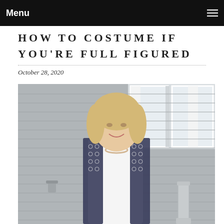Menu
HOW TO COSTUME IF YOU'RE FULL FIGURED
October 28, 2020
[Figure (photo): A blonde woman wearing a white long-sleeve shirt and a patterned navy/white sleeveless vest/duster, smiling, standing in front of a grey house with white windows]